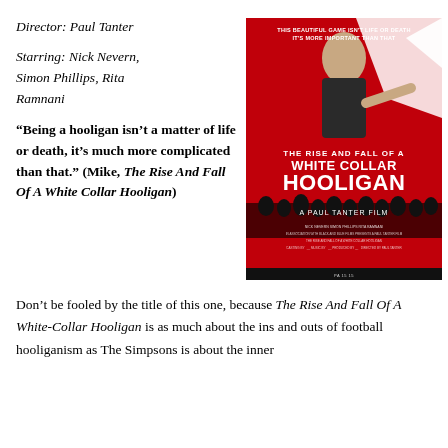Director: Paul Tanter
Starring: Nick Nevern, Simon Phillips, Rita Ramnani
[Figure (photo): Movie poster for 'The Rise and Fall of a White Collar Hooligan' directed by Paul Tanter. Red background with a bald man pointing at camera. Text reads: 'This beautiful game isn't life or death, it's more important than that.' Title text: THE RISE AND FALL OF A WHITE COLLAR HOOLIGAN. A PAUL TANTER FILM.]
“Being a hooligan isn’t a matter of life or death, it’s much more complicated than that.” (Mike, The Rise And Fall Of A White Collar Hooligan)
Don’t be fooled by the title of this one, because The Rise And Fall Of A White-Collar Hooligan is as much about the ins and outs of football hooliganism as The Simpsons is about the inner